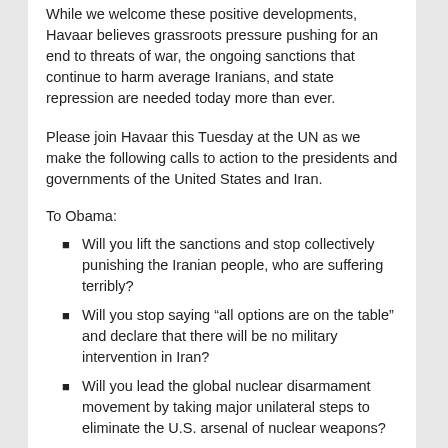While we welcome these positive developments, Havaar believes grassroots pressure pushing for an end to threats of war, the ongoing sanctions that continue to harm average Iranians, and state repression are needed today more than ever.
Please join Havaar this Tuesday at the UN as we make the following calls to action to the presidents and governments of the United States and Iran.
To Obama:
Will you lift the sanctions and stop collectively punishing the Iranian people, who are suffering terribly?
Will you stop saying “all options are on the table” and declare that there will be no military intervention in Iran?
Will you lead the global nuclear disarmament movement by taking major unilateral steps to eliminate the U.S. arsenal of nuclear weapons?
Will you promote peace in the Middle East by